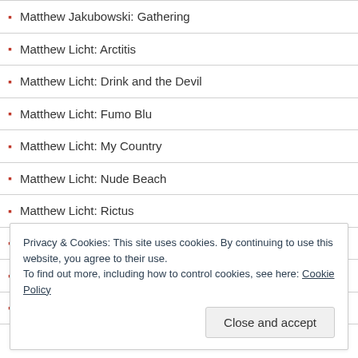Matthew Jakubowski: Gathering
Matthew Licht: Arctitis
Matthew Licht: Drink and the Devil
Matthew Licht: Fumo Blu
Matthew Licht: My Country
Matthew Licht: Nude Beach
Matthew Licht: Rictus
Matthew Licht: Rocco Siffredi at 71
Matthew Licht: Soft Pirate
Matthew Licht: The Pool
Privacy & Cookies: This site uses cookies. By continuing to use this website, you agree to their use. To find out more, including how to control cookies, see here: Cookie Policy
Close and accept